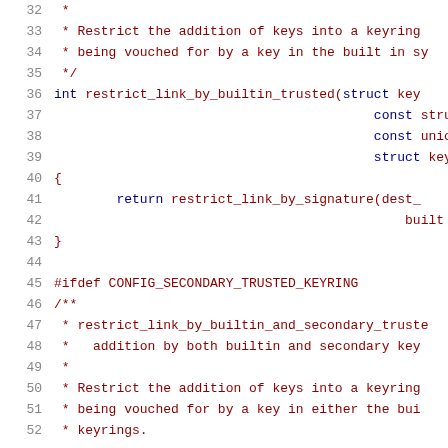Source code listing, lines 32-52, C code with comments
32   *
33   * Restrict the addition of keys into a keyring
34   * being vouched for by a key in the built in sy
35   */
36   int restrict_link_by_builtin_trusted(struct key
37                                           const stru
38                                           const union
39                                           struct key
40   {
41        return restrict_link_by_signature(dest_
42                                             built
43   }
44
45   #ifdef CONFIG_SECONDARY_TRUSTED_KEYRING
46   /**
47    * restrict_link_by_builtin_and_secondary_truste
48    *   addition by both builtin and secondary key
49    *
50    * Restrict the addition of keys into a keyring
51    * being vouched for by a key in either the bui
52    * keyrings.